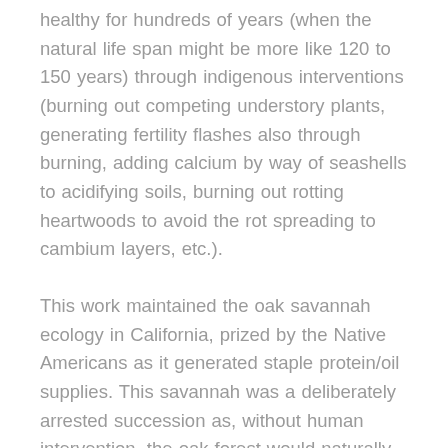healthy for hundreds of years (when the natural life span might be more like 120 to 150 years) through indigenous interventions (burning out competing understory plants, generating fertility flashes also through burning, adding calcium by way of seashells to acidifying soils, burning out rotting heartwoods to avoid the rot spreading to cambium layers, etc.).
This work maintained the oak savannah ecology in California, prized by the Native Americans as it generated staple protein/oil supplies. This savannah was a deliberately arrested succession as, without human intervention, the oak forest would naturally give way to much less hospitable pine forest. The work of maintaining such a stable, productive